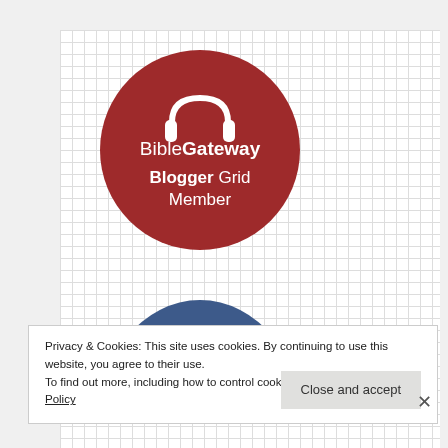[Figure (logo): BibleGateway Blogger Grid Member badge — dark red circle with white text and icon]
[Figure (logo): On Top list badge — dark blue circle partially visible, showing 'ON TOP' text in white]
Privacy & Cookies: This site uses cookies. By continuing to use this website, you agree to their use.
To find out more, including how to control cookies, see here: Cookie Policy
Close and accept